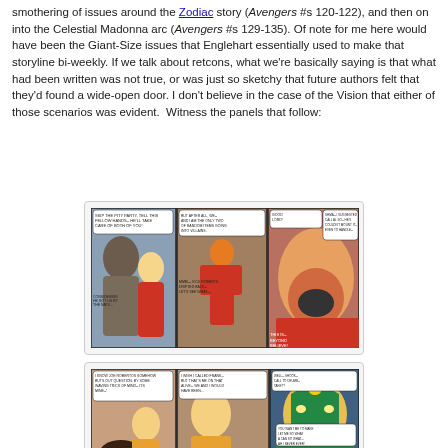smothering of issues around the Zodiac story (Avengers #s 120-122), and then on into the Celestial Madonna arc (Avengers #s 129-135). Of note for me here would have been the Giant-Size issues that Englehart essentially used to make that storyline bi-weekly. If we talk about retcons, what we're basically saying is that what had been written was not true, or was just so sketchy that future authors felt that they'd found a wide-open door. I don't believe in the case of the Vision that either of those scenarios was evident. Witness the panels that follow:
[Figure (photo): Comic book panels showing characters including a superhero in red and gold costume, and other characters in dramatic scenes with speech bubbles]
[Figure (photo): Comic book panels showing characters including the Vision in green and yellow costume, and other characters with speech bubbles]